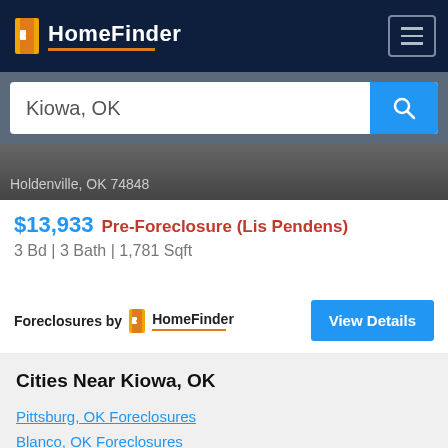HomeFinder
Kiowa, OK
Holdenville, OK 74848
$13,933 Pre-Foreclosure (Lis Pendens)
3 Bd | 3 Bath | 1,781 Sqft
Foreclosures by HomeFinder
View Details
Cities Near Kiowa, OK
Pittsburg, OK Foreclosures
Blanco, OK Foreclosures
Wardville, OK Foreclosures